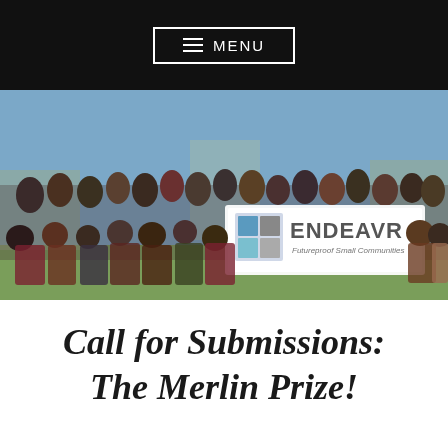≡ MENU
[Figure (photo): Large group photo of students and faculty outdoors holding a banner that reads 'ENDEAVR — Futureproof Small Communities']
Call for Submissions: The Merlin Prize!